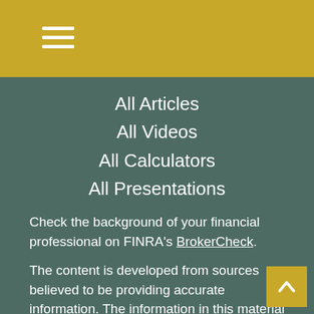All Articles
All Videos
All Calculators
All Presentations
Check the background of your financial professional on FINRA's BrokerCheck.
The content is developed from sources believed to be providing accurate information. The information in this material is not intended as tax or legal advice. Please consult legal or tax professionals for specific information regarding your individual situation. Some of this material was developed and produced by FMG Suite to provide information on a topic that may be of interest. FMG Suite is not